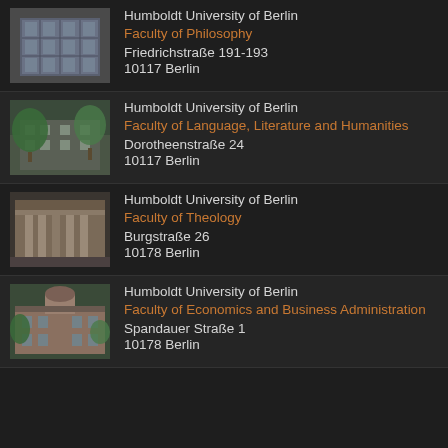[Figure (photo): Photo of Humboldt University Faculty of Philosophy building, Friedrichstraße, a modern glass and stone building]
Humboldt University of Berlin
Faculty of Philosophy
Friedrichstraße 191-193
10117 Berlin
[Figure (photo): Photo of Humboldt University Faculty of Language, Literature and Humanities building, green trees in front]
Humboldt University of Berlin
Faculty of Language, Literature and Humanities
Dorotheenstraße 24
10117 Berlin
[Figure (photo): Photo of Humboldt University Faculty of Theology building, Burgstraße, classical stone facade]
Humboldt University of Berlin
Faculty of Theology
Burgstraße 26
10178 Berlin
[Figure (photo): Photo of Humboldt University Faculty of Economics and Business Administration building, Spandauer Straße]
Humboldt University of Berlin
Faculty of Economics and Business Administration
Spandauer Straße 1
10178 Berlin